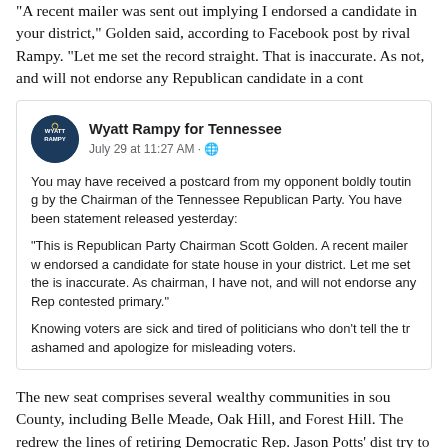“A recent mailer was sent out implying I endorsed a candidate in your district,” Golden said, according to Facebook post by rival Rampy. “Let me set the record straight. That is inaccurate. As chairman, I have not, and will not endorse any Republican candidate in a contested primary.”
[Figure (screenshot): Facebook post by Wyatt Rampy for Tennessee dated July 29 at 11:27 AM. Text reads: You may have received a postcard from my opponent boldly touting an endorsement by the Chairman of the Tennessee Republican Party. You have been misled. Here is a statement released yesterday: “This is Republican Party Chairman Scott Golden. A recent mailer was sent out implying I endorsed a candidate for state house in your district. Let me set the record straight. That is inaccurate. As chairman, I have not, and will not endorse any Republican candidate in a contested primary.” Knowing voters are sick and tired of politicians who don’t tell the truth, I call on my opponent to be ashamed and apologize for misleading voters.]
The new seat comprises several wealthy communities in southern Davidson County, including Belle Meade, Oak Hill, and Forest Hill. The legislature redrew the lines of retiring Democratic Rep. Jason Potts’ district in a try to make it more favorable to Republicans. Caleb Hemme...